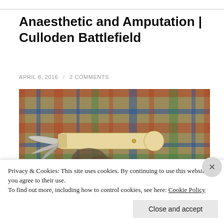Anaesthetic and Amputation | Culloden Battlefield
APRIL 8, 2016  /  2 COMMENTS
[Figure (photo): A photograph of an antique folding surgical knife or amputation tool with a pale bone/ivory handle, held against a colorful tartan/plaid woolen fabric background in blues, greens, reds and oranges.]
Privacy & Cookies: This site uses cookies. By continuing to use this website, you agree to their use.
To find out more, including how to control cookies, see here: Cookie Policy
Close and accept